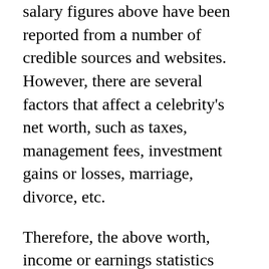salary figures above have been reported from a number of credible sources and websites. However, there are several factors that affect a celebrity's net worth, such as taxes, management fees, investment gains or losses, marriage, divorce, etc.
Therefore, the above worth, income or earnings statistics may not be 100% accurate. We respect other people's privacy, so please don't stalk celebrities or hack anyone's account and send us the information – we will pretend not to know you. =)